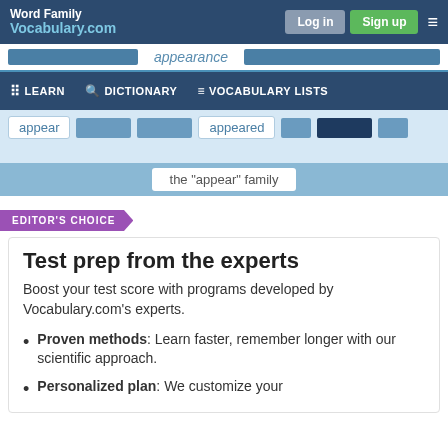Word Family
Vocabulary.com — Log in | Sign up
appearance
LEARN  DICTIONARY  VOCABULARY LISTS
appear  appeared  the "appear" family
EDITOR'S CHOICE
Test prep from the experts
Boost your test score with programs developed by Vocabulary.com's experts.
Proven methods: Learn faster, remember longer with our scientific approach.
Personalized plan: We customize your